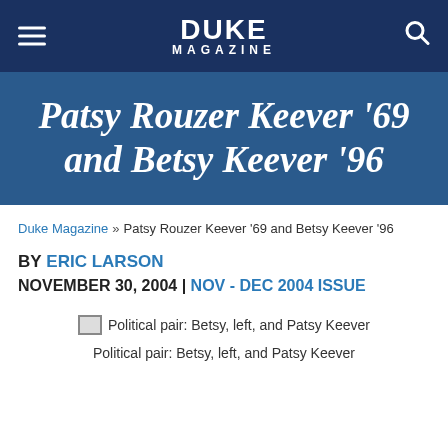DUKE MAGAZINE
Patsy Rouzer Keever '69 and Betsy Keever '96
Duke Magazine » Patsy Rouzer Keever '69 and Betsy Keever '96
BY ERIC LARSON
NOVEMBER 30, 2004 | NOV - DEC 2004 ISSUE
[Figure (photo): Political pair: Betsy, left, and Patsy Keever]
Political pair: Betsy, left, and Patsy Keever